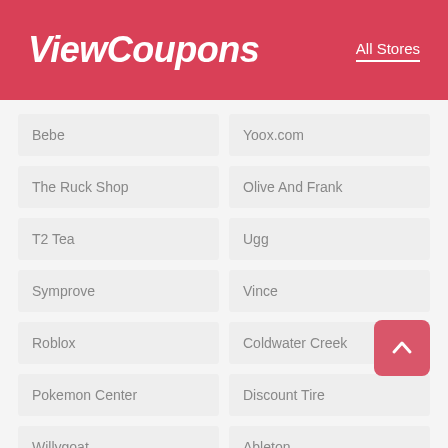ViewCoupons
All Stores
Bebe
Yoox.com
The Ruck Shop
Olive And Frank
T2 Tea
Ugg
Symprove
Vince
Roblox
Coldwater Creek
Pokemon Center
Discount Tire
Willygoat
Ableton
Bx
Sleepy